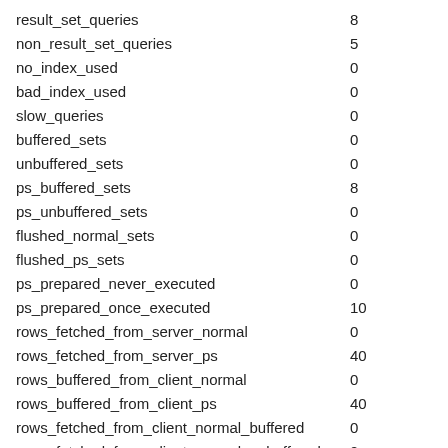| Name | Value |
| --- | --- |
| result_set_queries | 8 |
| non_result_set_queries | 5 |
| no_index_used | 0 |
| bad_index_used | 0 |
| slow_queries | 0 |
| buffered_sets | 0 |
| unbuffered_sets | 0 |
| ps_buffered_sets | 8 |
| ps_unbuffered_sets | 0 |
| flushed_normal_sets | 0 |
| flushed_ps_sets | 0 |
| ps_prepared_never_executed | 0 |
| ps_prepared_once_executed | 10 |
| rows_fetched_from_server_normal | 0 |
| rows_fetched_from_server_ps | 40 |
| rows_buffered_from_client_normal | 0 |
| rows_buffered_from_client_ps | 40 |
| rows_fetched_from_client_normal_buffered | 0 |
| rows_fetched_from_client_normal_unbuffered | 0 |
| rows_fetched_from_client_ps_buffered | 0 |